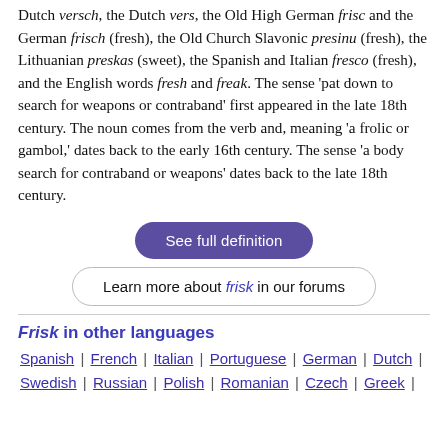Dutch versch, the Dutch vers, the Old High German frisc and the German frisch (fresh), the Old Church Slavonic presinu (fresh), the Lithuanian preskas (sweet), the Spanish and Italian fresco (fresh), and the English words fresh and freak. The sense 'pat down to search for weapons or contraband' first appeared in the late 18th century. The noun comes from the verb and, meaning 'a frolic or gambol,' dates back to the early 16th century. The sense 'a body search for contraband or weapons' dates back to the late 18th century.
See full definition
Learn more about frisk in our forums
Frisk in other languages
Spanish | French | Italian | Portuguese | German | Dutch | Swedish | Russian | Polish | Romanian | Czech | Greek |